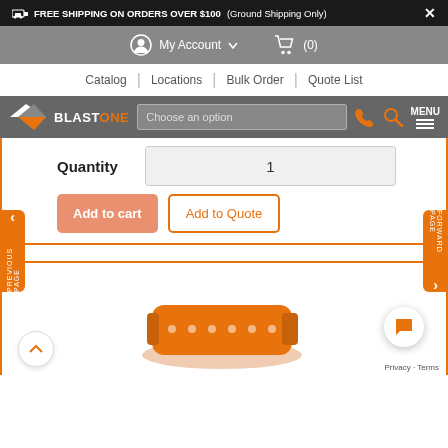FREE SHIPPING ON ORDERS OVER $100 (Ground Shipping Only)
My Account  (0)
Catalog | Locations | Bulk Order | Quote List
[Figure (logo): BlastOne logo with orange and white chevron/wing mark and text BLAST ONE]
Choose an option
Quantity  1
Add to cart
Add to Quote
[Figure (photo): Orange product item (abrasive blasting equipment) shown at bottom of page]
Privacy · Terms